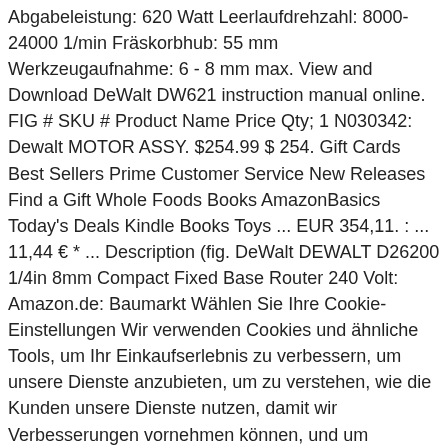Abgabeleistung: 620 Watt Leerlaufdrehzahl: 8000-24000 1/min Fräskorbhub: 55 mm Werkzeugaufnahme: 6 - 8 mm max. View and Download DeWalt DW621 instruction manual online. FIG # SKU # Product Name Price Qty; 1 N030342: Dewalt MOTOR ASSY. $254.99 $ 254. Gift Cards Best Sellers Prime Customer Service New Releases Find a Gift Whole Foods Books AmazonBasics Today's Deals Kindle Books Toys ... EUR 354,11. : ... 11,44 € * ... Description (fig. DeWalt DEWALT D26200 1/4in 8mm Compact Fixed Base Router 240 Volt: Amazon.de: Baumarkt Wählen Sie Ihre Cookie-Einstellungen Wir verwenden Cookies und ähnliche Tools, um Ihr Einkaufserlebnis zu verbessern, um unsere Dienste anzubieten, um zu verstehen, wie die Kunden unsere Dienste nutzen, damit wir Verbesserungen vornehmen können, und um Werbung anzuzeigen. $182.93. Farbe: Gelb Marke: DEWALT. Shank Diameter: 1/4. Handkreissäge DeWALT Führungsschienen DWS502 für Oberfräsen sowie Hand- und Tauchkreissägen - in verschiede. Dewalt Artikelnummer DE6966-XJ